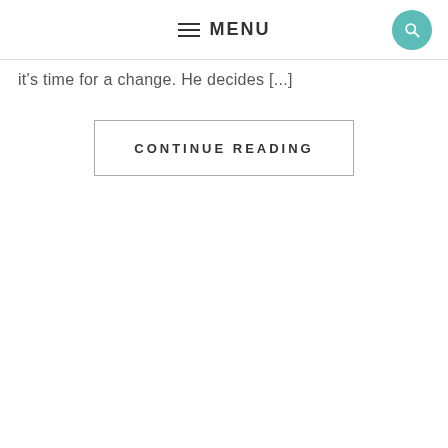≡ MENU
it's time for a change. He decides [...]
CONTINUE READING